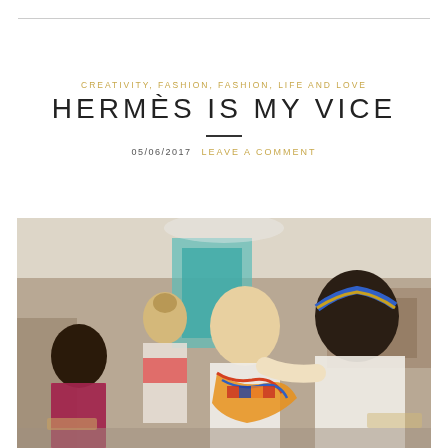CREATIVITY, FASHION, FASHION, LIFE AND LOVE
HERMÈS IS MY VICE
05/06/2017   LEAVE A COMMENT
[Figure (photo): A woman with blonde hair smiling at a Hermès store, being styled with a colorful scarf by a store associate wearing a blue and gold headband made from a Hermès scarf. Another dark-haired woman and a blonde woman with a bun stand nearby in the background.]